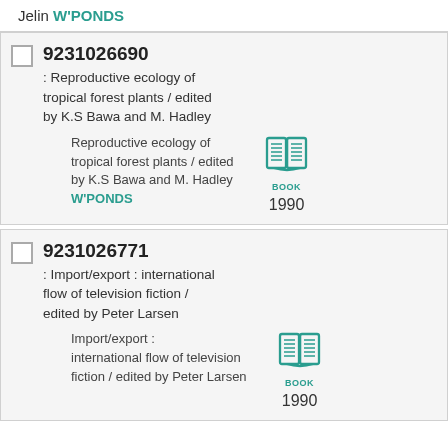Jelin W'PONDS
9231026690 : Reproductive ecology of tropical forest plants / edited by K.S Bawa and M. Hadley
Reproductive ecology of tropical forest plants / edited by K.S Bawa and M. Hadley W'PONDS 1990
9231026771 : Import/export : international flow of television fiction / edited by Peter Larsen
Import/export : international flow of television fiction / edited by Peter Larsen BOOK 1990